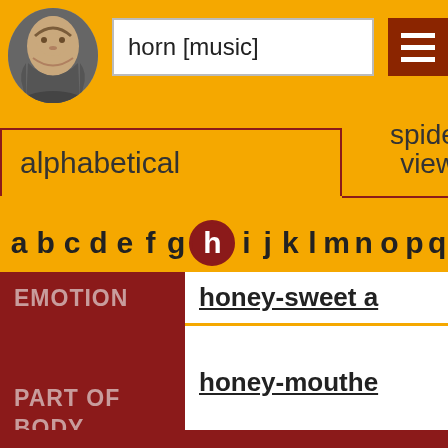[Figure (illustration): Shakespeare portrait in circular frame]
horn [music]
alphabetical
spider view
by frequency by
a b c d e f g h i j k l m n o p q
| Category | Word |
| --- | --- |
| EMOTION | honey-sweet a |
| PART OF BODY | honey-mouthe
honey-tongue |